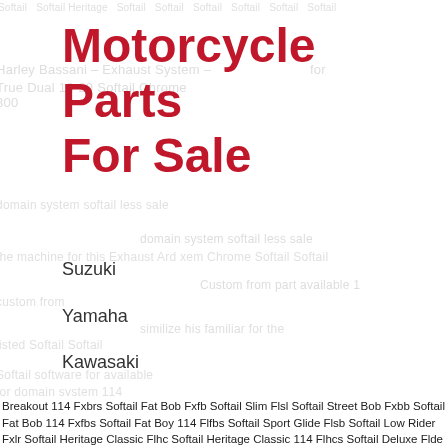Motorcycle Parts For Sale
Suzuki
Yamaha
Kawasaki
Harley Davidson
Harley
Vintage
Breakout 114 Fxbrs Softail Fat Bob Fxfb Softail Slim Flsl Softail Street Bob Fxbb Softail Fat Bob 114 Fxfbs Softail Fat Boy 114 Flfbs Softail Sport Glide Flsb Softail Low Rider Fxlr Softail Heritage Classic Flhc Softail Heritage Classic 114 Flhcs Softail Deluxe Flde